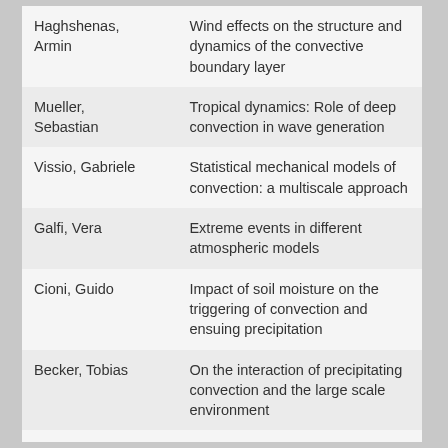| Haghshenas, Armin | Wind effects on the structure and dynamics of the convective boundary layer |
| Mueller, Sebastian | Tropical dynamics: Role of deep convection in wave generation |
| Vissio, Gabriele | Statistical mechanical models of convection: a multiscale approach |
| Galfi, Vera | Extreme events in different atmospheric models |
| Cioni, Guido | Impact of soil moisture on the triggering of convection and ensuing precipitation |
| Becker, Tobias | On the interaction of precipitating convection and the large scale environment |
| Vogel, Raphaela | The role of precipitation in the |